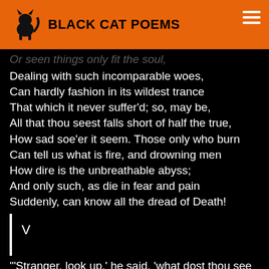BLACK CAT POEMS
Or seen things only fit the soul,
Dealing with such incomparable woes,
Can hardly fashion in its wildest trance
That which it never suffer'd; so, may be,
All that thou seest falls short of half the true,
How sad soe'er it seem. Those only who burn
Can tell us what is fire, and drowning men
How dire is the unbreathable abyss;
And only such, as die in fear and pain
Suddenly, can know all the dread of Death!
V
'"Stranger, look up,' he said, 'what dost thou see
On the great wall before thee?' As he spoke,